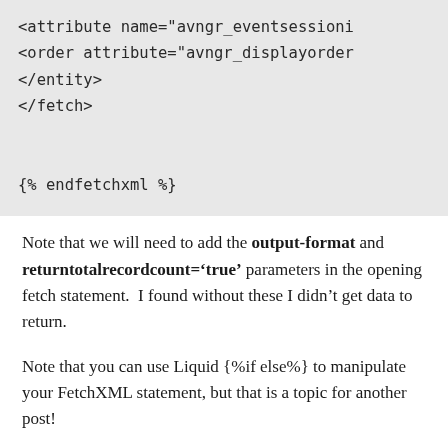<attribute name="avngr_eventsessioni
  <order attribute="avngr_displayorder
  </entity>
  </fetch>

  {% endfetchxml %}
Note that we will need to add the output-format and returntotalrecordcount='true' parameters in the opening fetch statement.  I found without these I didn't get data to return.
Note that you can use Liquid {%if else%} to manipulate your FetchXML statement, but that is a topic for another post!